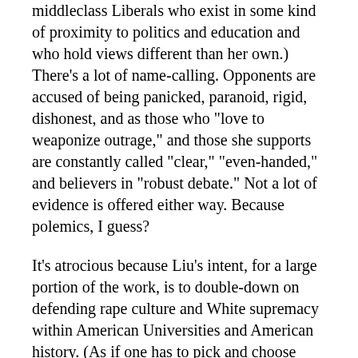middleclass Liberals who exist in some kind of proximity to politics and education and who hold views different than her own.) There's a lot of name-calling. Opponents are accused of being panicked, paranoid, rigid, dishonest, and as those who "love to weaponize outrage," and those she supports are constantly called "clear," "even-handed," and believers in "robust debate." Not a lot of evidence is offered either way. Because polemics, I guess?
It's atrocious because Liu's intent, for a large portion of the work, is to double-down on defending rape culture and White supremacy within American Universities and American history. (As if one has to pick and choose between fighting neoliberal economics and fighting rape culture and White supremacy? As if all three aren't intimately entwined?). I mean, yes, be outraged by Liberal virtue signalling and the absolute betrayal of the issues wrought by the Liberal elite, but some and You...